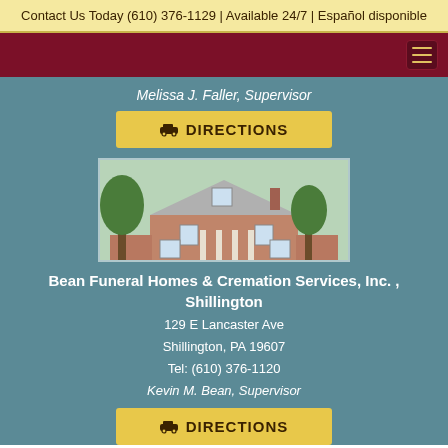Contact Us Today (610) 376-1129 | Available 24/7 | Español disponible
Melissa J. Faller, Supervisor
DIRECTIONS
[Figure (photo): Exterior photo of Bean Funeral Homes & Cremation Services building in Shillington, a large brick colonial-style building with white columns, trees in foreground, green lawn]
Bean Funeral Homes & Cremation Services, Inc. , Shillington
129 E Lancaster Ave
Shillington, PA 19607
Tel: (610) 376-1120
Kevin M. Bean, Supervisor
DIRECTIONS